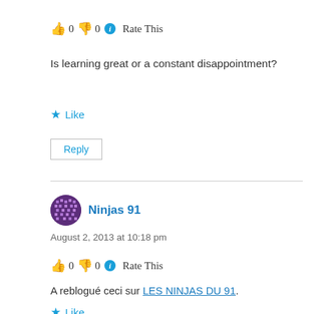👍 0 👎 0 ℹ Rate This
Is learning great or a constant disappointment?
★ Like
Reply
Ninjas 91
August 2, 2013 at 10:18 pm
👍 0 👎 0 ℹ Rate This
A reblogué ceci sur LES NINJAS DU 91.
★ Like